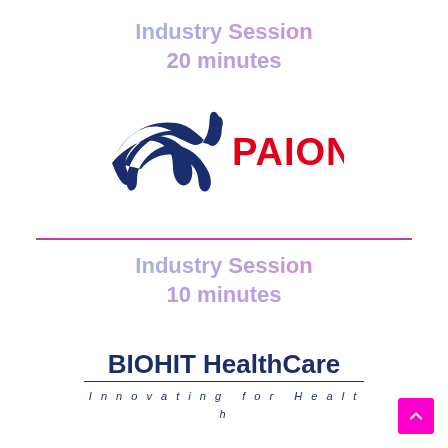Industry Session
20 minutes
[Figure (logo): PAION company logo — dark blue stylized manta ray / bird shape with red text 'PAION']
[Figure (logo): BIOHIT HealthCare logo — dark navy bold text 'BIOHIT HealthCare' with tagline 'Innovating for Health' in spaced italic below a horizontal rule]
Industry Session
10 minutes